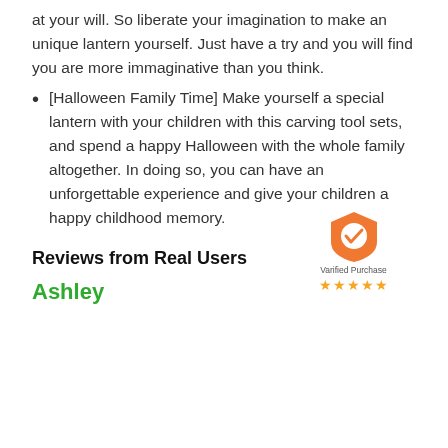at your will. So liberate your imagination to make an unique lantern yourself. Just have a try and you will find you are more immaginative than you think.
[Halloween Family Time] Make yourself a special lantern with your children with this carving tool sets, and spend a happy Halloween with the whole family altogether. In doing so, you can have an unforgettable experience and give your children a happy childhood memory.
Reviews from Real Users
Ashley
[Figure (infographic): Verified Purchase badge with orange shield and checkmark, with 5 gold stars below]